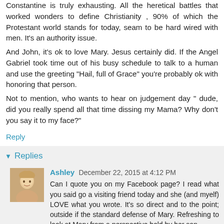Constantine is truly exhausting. All the heretical battles that worked wonders to define Christianity , 90% of which the Protestant world stands for today, seam to be hard wired with men. It's an authority issue.
And John, it's ok to love Mary. Jesus certainly did. If the Angel Gabriel took time out of his busy schedule to talk to a human and use the greeting "Hail, full of Grace" you're probably ok with honoring that person.
Not to mention, who wants to hear on judgement day " dude, did you really spend all that time dissing my Mama? Why don't you say it to my face?"
Reply
Replies
Ashley  December 22, 2015 at 4:12 PM
Can I quote you on my Facebook page? I read what you said go a visiting friend today and she (and myelf) LOVE what you wrote. It's so direct and to the point; outside if the standard defense of Mary. Refreshing to look at Mary from a perspective held by her son.